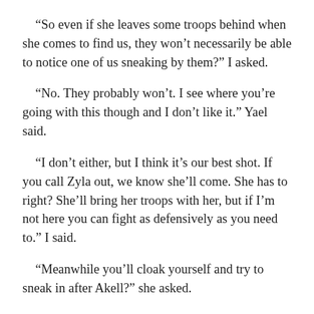“So even if she leaves some troops behind when she comes to find us, they won’t necessarily be able to notice one of us sneaking by them?” I asked.
“No. They probably won’t. I see where you’re going with this though and I don’t like it.” Yael said.
“I don’t either, but I think it’s our best shot. If you call Zyla out, we know she’ll come. She has to right? She’ll bring her troops with her, but if I’m not here you can fight as defensively as you need to.” I said.
“Meanwhile you’ll cloak yourself and try to sneak in after Akell?” she asked.
“I know it’s dangerous. He’s seen me in action too, but he’s probably not expecting me to show up.” I said.
“What if Zyla has other traps laid. Or Akell hasn’t set off all